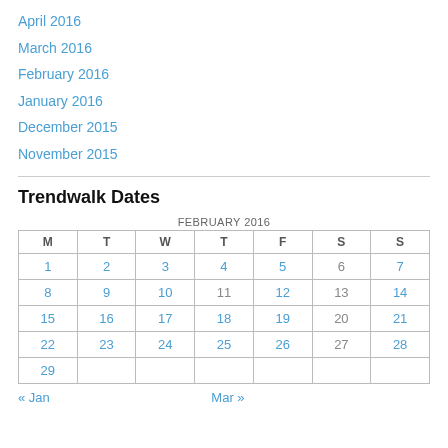April 2016
March 2016
February 2016
January 2016
December 2015
November 2015
Trendwalk Dates
| M | T | W | T | F | S | S |
| --- | --- | --- | --- | --- | --- | --- |
| 1 | 2 | 3 | 4 | 5 | 6 | 7 |
| 8 | 9 | 10 | 11 | 12 | 13 | 14 |
| 15 | 16 | 17 | 18 | 19 | 20 | 21 |
| 22 | 23 | 24 | 25 | 26 | 27 | 28 |
| 29 |  |  |  |  |  |  |
« Jan    Mar »